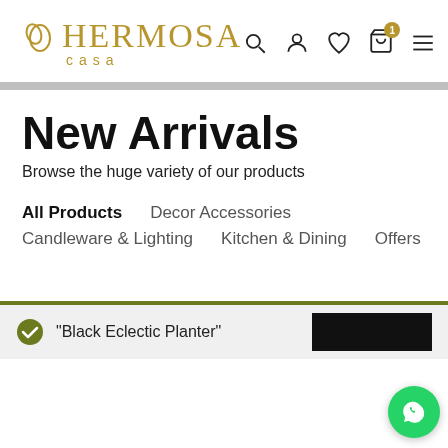[Figure (logo): Hermosa Casa logo with leaf icon and golden/olive text]
New Arrivals
Browse the huge variety of our products
All Products
Decor Accessories
Candleware & Lighting
Kitchen & Dining
Offers
"Black Eclectic Planter"